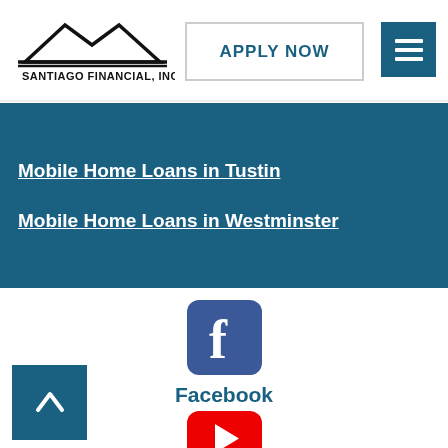[Figure (logo): Santiago Financial, Inc. logo with house/roof silhouette and company name text]
[Figure (other): Apply Now button with border]
[Figure (other): Hamburger menu button in teal]
Mobile Home Loans in Tustin
Mobile Home Loans in Westminster
[Figure (logo): Facebook icon - rounded square blue logo with white f]
Facebook
[Figure (logo): YouTube icon - red rounded rectangle with white play triangle]
YouTube
[Figure (other): Newspaper/article icon in teal outline style]
[Figure (other): Back to top arrow button in teal]